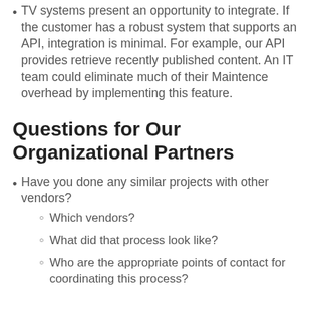TV systems present an opportunity to integrate. If the customer has a robust system that supports an API, integration is minimal. For example, our API provides retrieve recently published content. An IT team could eliminate much of their Maintence overhead by implementing this feature.
Questions for Our Organizational Partners
Have you done any similar projects with other vendors?
Which vendors?
What did that process look like?
Who are the appropriate points of contact for coordinating this process?